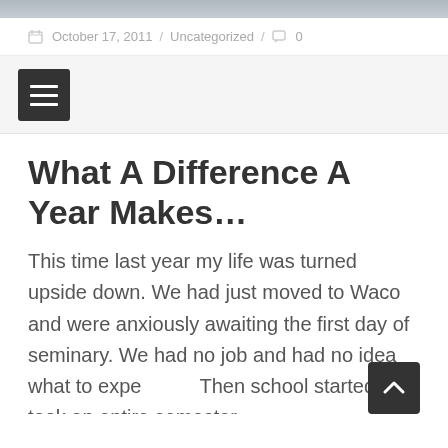[Figure (photo): Partial cropped photo visible at the top of the page, appears to be people in casual/outdoor setting]
October 17, 2011 / Uncategorized / 0
[Figure (other): Hamburger menu button (three horizontal bars) on dark background]
What A Difference A Year Makes…
This time last year my life was turned upside down. We had just moved to Waco and were anxiously awaiting the first day of seminary. We had no job and had no idea what to expe Then school started. It took an entire semester